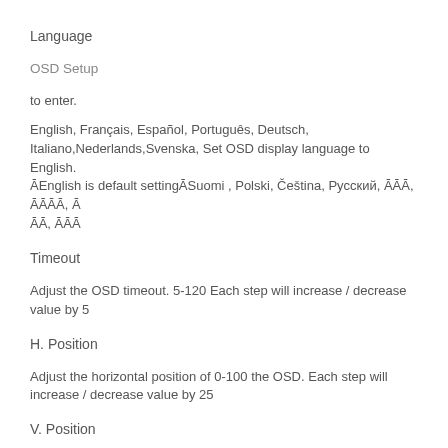Language
OSD Setup
to enter.
English, Français, Español, Português, Deutsch, Italiano,Nederlands,Svenska, Set OSD display language to English. ꀀEnglish is default settingꀀSuomi , Polski, Čeština, Русский, ꀀꀀꀀ, ꀀꀀꀀꀀ, ꀀꀀꀀ, ꀀꀀꀀ
Timeout
Adjust the OSD timeout. 5-120 Each step will increase / decrease value by 5
H. Position
Adjust the horizontal position of 0-100 the OSD. Each step will increase / decrease value by 25
V. Position